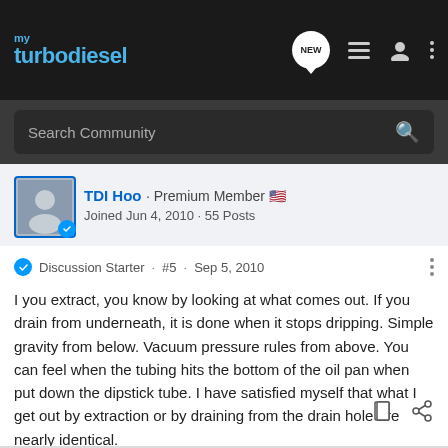my turbodiesel
Search Community
TDI Hoo · Premium Member
Joined Jun 4, 2010 · 55 Posts
Discussion Starter · #5 · Sep 5, 2010
I you extract, you know by looking at what comes out. If you drain from underneath, it is done when it stops dripping. Simple gravity from below. Vacuum pressure rules from above. You can feel when the tubing hits the bottom of the oil pan when put down the dipstick tube. I have satisfied myself that what I get out by extraction or by draining from the drain hole are nearly identical.